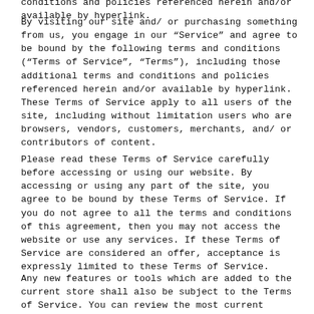conditions and policies referenced herein and/or available by hyperlink. These Terms of Service apply to all users of the site, including without limitation users who are browsers, vendors, customers, merchants, and/or contributors of content.
By visiting our site and/or purchasing something from us, you engage in our “Service” and agree to be bound by the following terms and conditions (“Terms of Service”, “Terms”), including those additional terms and conditions and policies referenced herein and/or available by hyperlink. These Terms of Service apply to all users of the site, including without limitation users who are browsers, vendors, customers, merchants, and/or contributors of content.
Please read these Terms of Service carefully before accessing or using our website. By accessing or using any part of the site, you agree to be bound by these Terms of Service. If you do not agree to all the terms and conditions of this agreement, then you may not access the website or use any services. If these Terms of Service are considered an offer, acceptance is expressly limited to these Terms of Service.
Any new features or tools which are added to the current store shall also be subject to the Terms of Service. You can review the most current version of the